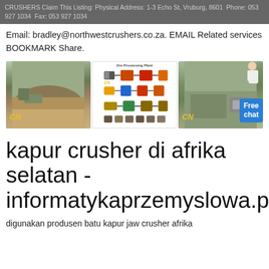CRUSHERS Claim This Listing: Physical Address: 1-3 Echo St, Vruburg, 8601 Phone: 053 927 1034 Fax: 053 927 1034
Email: bradley@northwestcrushers.co.za. EMAIL Related services BOOKMARK Share.
[Figure (photo): Three images: (1) quarry/open-cast mine with CN logo, (2) ore processing plant diagram with equipment illustrated, (3) aerial view of quarry/crusher site with CN logo and Free chat button overlay with person illustration.]
kapur crusher di afrika selatan - informatykaprzemyslowa.pl
digunakan produsen batu kapur jaw crusher afrika